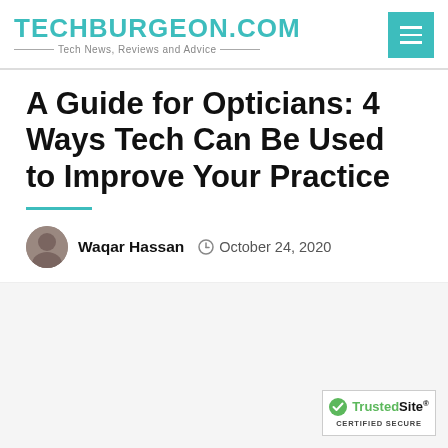TECHBURGEON.COM — Tech News, Reviews and Advice
A Guide for Opticians: 4 Ways Tech Can Be Used to Improve Your Practice
Waqar Hassan  October 24, 2020
[Figure (photo): Large image placeholder area below the article header (appears blank/loading)]
[Figure (logo): TrustedSite CERTIFIED SECURE badge in bottom right corner]